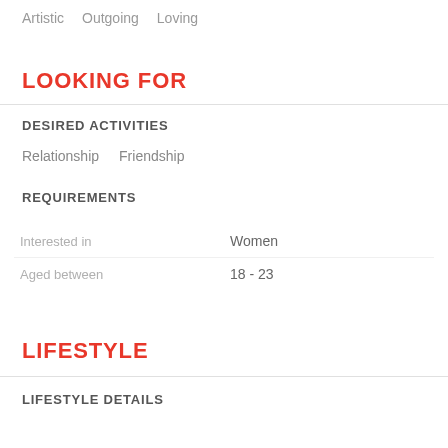Artistic   Outgoing   Loving
LOOKING FOR
DESIRED ACTIVITIES
Relationship   Friendship
REQUIREMENTS
|  |  |
| --- | --- |
| Interested in | Women |
| Aged between | 18 - 23 |
LIFESTYLE
LIFESTYLE DETAILS